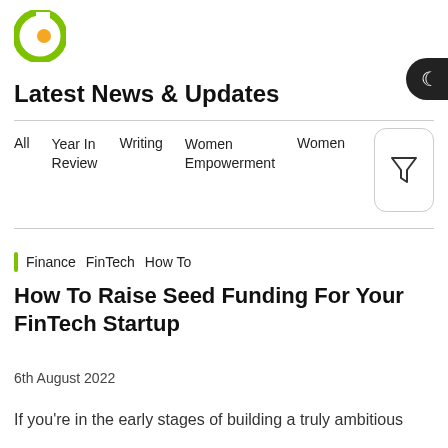[Figure (logo): Circular green and orange logo (C shape)]
Latest News & Updates
All   Year In Review   Writing   Women Empowerment   Women
Finance  FinTech  How To
How To Raise Seed Funding For Your FinTech Startup
6th August 2022
If you're in the early stages of building a truly ambitious FinTech startup, you will be...